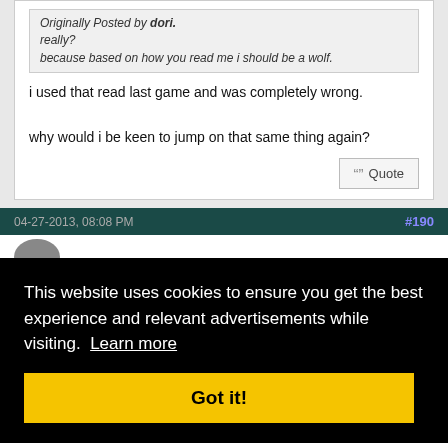Originally Posted by dori. really? because based on how you read me i should be a wolf.
i used that read last game and was completely wrong.

why would i be keen to jump on that same thing again?
Quote
04-27-2013, 08:08 PM   #190
This website uses cookies to ensure you get the best experience and relevant advertisements while visiting.  Learn more
Got it!
deal
Quote